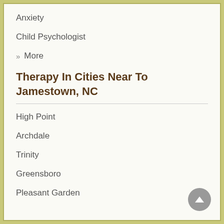Anxiety
Child Psychologist
» More
Therapy In Cities Near To Jamestown, NC
High Point
Archdale
Trinity
Greensboro
Pleasant Garden